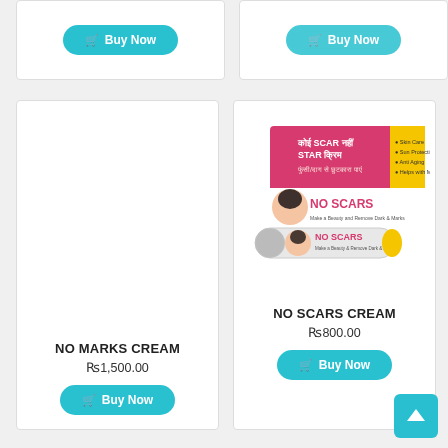[Figure (other): Partial product card top left with Buy Now button]
[Figure (other): Partial product card top right with Buy Now button]
[Figure (other): No Marks Cream product card with blank image area, product name, price Rs1500.00 and Buy Now button]
[Figure (photo): No Scars Cream product packaging photo showing two cream tubes and a box with a woman's face, pink and white packaging]
NO MARKS CREAM
Rs1,500.00
NO SCARS CREAM
Rs800.00